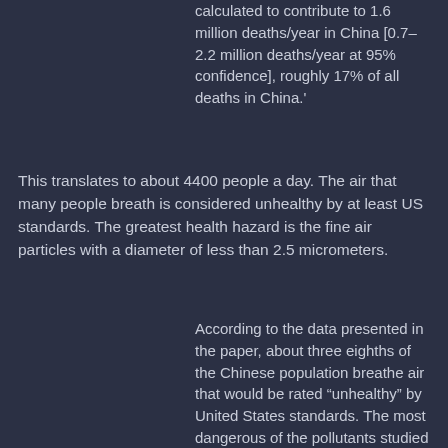calculated to contribute to 1.6 million deaths/year in China [0.7–2.2 million deaths/year at 95% confidence], roughly 17% of all deaths in China.'
This translates to about 4400 people a day.  The air that many people breath is considered unhealthy by at least US standards.  The greatest health hazard is the fine air particles with a diameter of less than 2.5 micrometers.
According to the data presented in the paper, about three eighths of the Chinese population breathe air that would be rated “unhealthy” by United States standards. The most dangerous of the pollutants studied were fine airborne particles less than 2.5 microns in diameter, which can find their way deep into human lungs, be absorbed into the bloodstream and cause a host of health problems, including asthma, strokes, lung cancer and heart attacks.